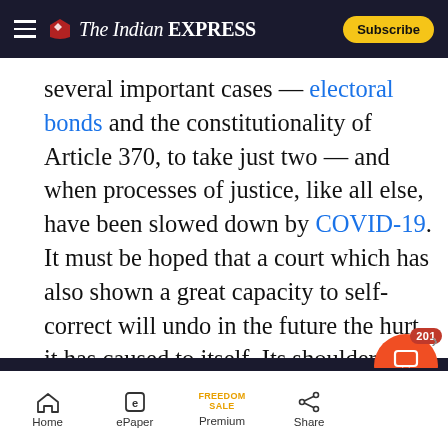The Indian EXPRESS — Subscribe
several important cases — electoral bonds and the constitutionality of Article 370, to take just two — and when processes of justice, like all else, have been slowed down by COVID-19. It must be hoped that a court which has also shown a great capacity to self-correct will undo in the future the hurt it has caused to itself. Its shoulders have always been broad. They need to widen, not shrink, to carry the weight of a nation's expectations — especially when the critical voice becomes harder to hear.
Home  ePaper  Premium  Share  STORY  201